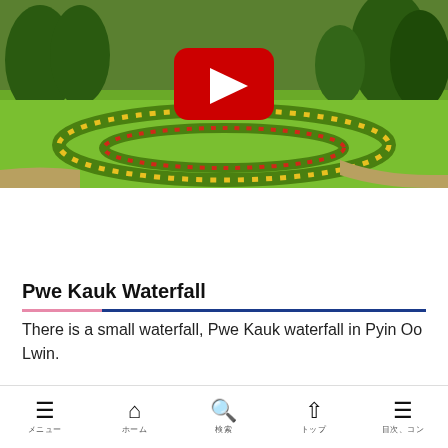[Figure (screenshot): YouTube video thumbnail showing a garden with green hedges shaped in oval patterns with colorful flowers, featuring a red YouTube play button overlay]
National Kandawgyi Gardens
Pwe Kauk Waterfall
There is a small waterfall, Pwe Kauk waterfall in Pyin Oo Lwin.
Menu  Home  Search  Top  Contents